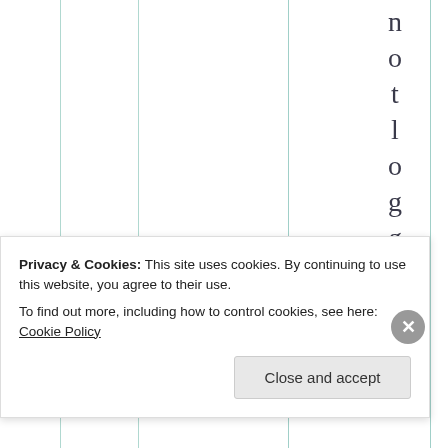[Figure (screenshot): Partial view of a table with vertical column dividers in light teal/green color. The rightmost column contains vertical text reading 'notlogged in' with letters stacked vertically.]
Privacy & Cookies: This site uses cookies. By continuing to use this website, you agree to their use.
To find out more, including how to control cookies, see here: Cookie Policy
Close and accept